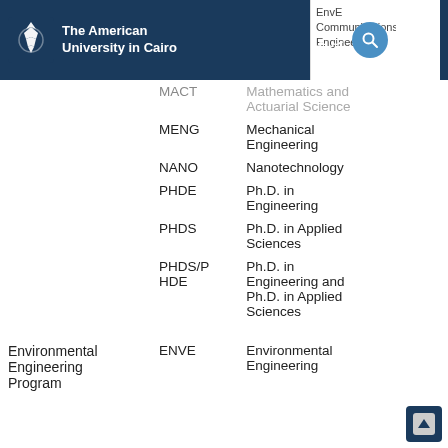The American University in Cairo
| Program | Code | Name |
| --- | --- | --- |
|  | MACT | Mathematics and Actuarial Science |
|  | MENG | Mechanical Engineering |
|  | NANO | Nanotechnology |
|  | PHDE | Ph.D. in Engineering |
|  | PHDS | Ph.D. in Applied Sciences |
|  | PHDS/PHDE | Ph.D. in Engineering and Ph.D. in Applied Sciences |
| Environmental Engineering Program | ENVE | Environmental Engineering |